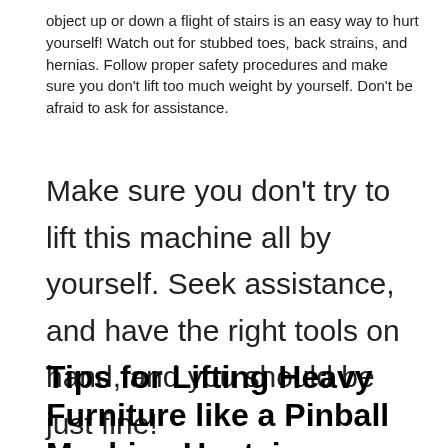object up or down a flight of stairs is an easy way to hurt yourself! Watch out for stubbed toes, back strains, and hernias. Follow proper safety procedures and make sure you don't lift too much weight by yourself. Don't be afraid to ask for assistance.
Make sure you don't try to lift this machine all by yourself. Seek assistance, and have the right tools on hand, and you should be just fine!
Tips for Lifting Heavy Furniture like a Pinball Machine Upstairs